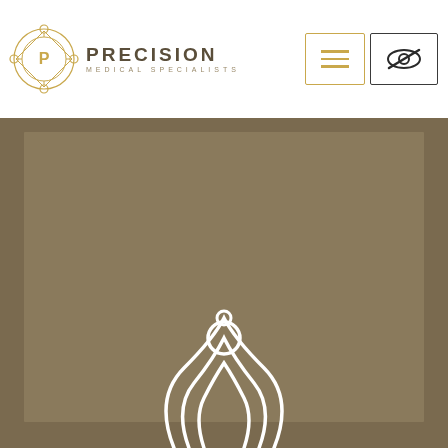[Figure (logo): Precision Medical Specialists logo with circular emblem and text]
[Figure (illustration): Navigation buttons: hamburger menu with gold border and eye-slash icon with dark border]
[Figure (photo): Large tan/brown background with lighter inner rectangle card, and partial white outline logo watermark at bottom center]